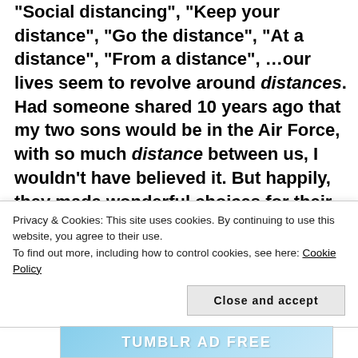“Social distancing”, “Keep your distance”, “Go the distance”, “At a distance”, “From a distance”, …our lives seem to revolve around distances. Had someone shared 10 years ago that my two sons would be in the Air Force, with so much distance between us, I wouldn’t have believed it. But happily, they made wonderful choices for their lives. And doesn’t “distance make the heart grow fonder?”
[Figure (other): Advertisement banner showing 'Works on the App Too!' text on the left and '$39.99 a year or $4.99' pricing on the right, with a blue sky background]
Privacy & Cookies: This site uses cookies. By continuing to use this website, you agree to their use.
To find out more, including how to control cookies, see here: Cookie Policy
Close and accept
[Figure (other): Bottom banner showing 'TUMBLR AD FREE' text on a blue sky background]